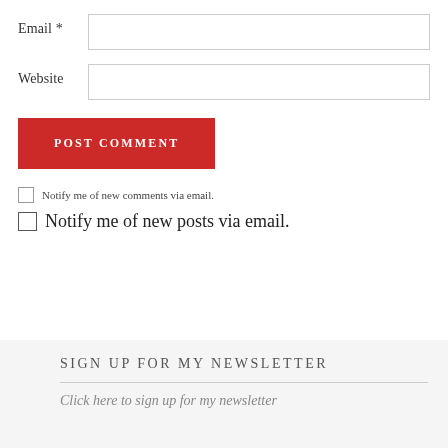Email *
Website
POST COMMENT
Notify me of new comments via email.
Notify me of new posts via email.
SIGN UP FOR MY NEWSLETTER
Click here to sign up for my newsletter